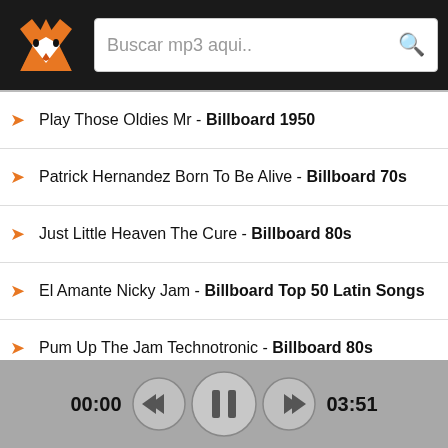[Figure (screenshot): Fox logo (orange and black fox head) in top-left header bar]
Buscar mp3 aqui..
Play Those Oldies Mr - Billboard 1950
Patrick Hernandez Born To Be Alive - Billboard 70s
Just Little Heaven The Cure - Billboard 80s
El Amante Nicky Jam - Billboard Top 50 Latin Songs
Pum Up The Jam Technotronic - Billboard 80s
Lady In Red Chris De Burgh - Billboard 80s
Young Turks Rod Stewart - Billboard 80s
Si Tu Novio Te Deja Sola J Balvin Featuring Bad Bunny - Billboard T
Dangerous Roxette - Billboard 80s
00:00   03:51